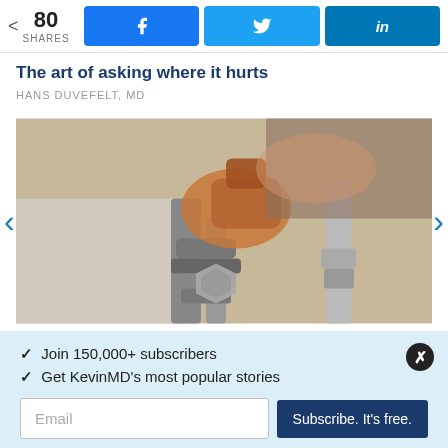80 SHARES | Facebook share | Twitter share | LinkedIn share
The art of asking where it hurts
HANS DUVEFELT, MD
[Figure (photo): Close-up photo of a hand using a wrench on metal pipe fittings/valves]
Join 150,000+ subscribers
Get KevinMD's most popular stories
Email | Subscribe. It's free.